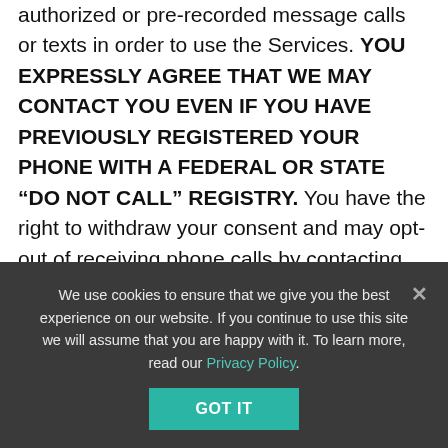authorized or pre-recorded message calls or texts in order to use the Services. YOU EXPRESSLY AGREE THAT WE MAY CONTACT YOU EVEN IF YOU HAVE PREVIOUSLY REGISTERED YOUR PHONE WITH A FEDERAL OR STATE “DO NOT CALL” REGISTRY. You have the right to withdraw your consent and may opt-out of receiving phone calls by contacting us in any of the methods listed in the “Contact” section of the Website. In addition, you may opt-out of e-mails by clicking the “unsubscribe” link in any e-mail we send to you, and may opt-out of text messages by replying “STOP” to text messages you receive from us. If you opt-out and then re-enable any of these services, you will be deemed to have again given us your express
We use cookies to ensure that we give you the best experience on our website. If you continue to use this site we will assume that you are happy with it. To learn more, read our Privacy Policy.
GOT IT